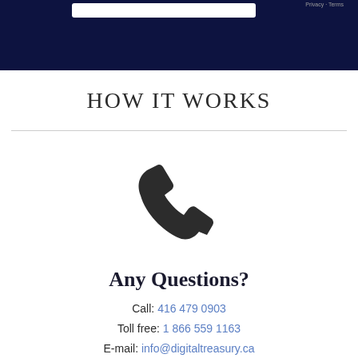Privacy · Terms
HOW IT WORKS
[Figure (illustration): Dark phone handset icon centered on white background]
Any Questions?
Call: 416 479 0903
Toll free: 1 866 559 1163
E-mail: info@digitaltreasury.ca